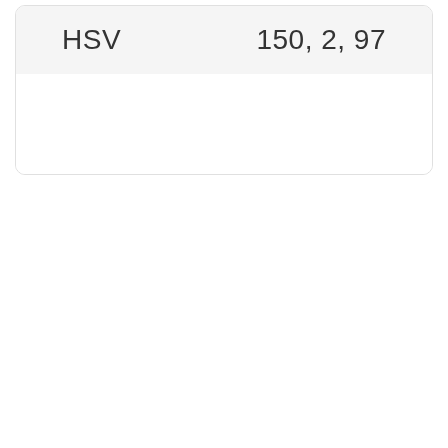|  |  |
| --- | --- |
| HSV | 150, 2, 97 |